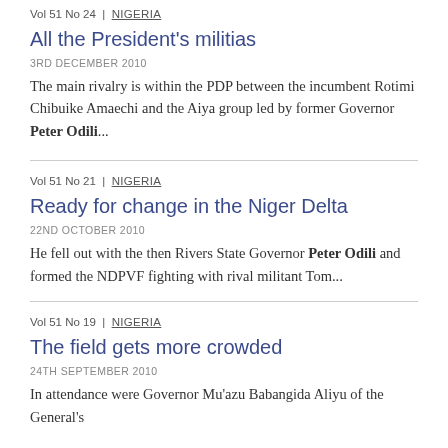Vol 51 No 24 | NIGERIA
All the President's militias
3RD DECEMBER 2010
The main rivalry is within the PDP between the incumbent Rotimi Chibuike Amaechi and the Aiya group led by former Governor Peter Odili...
Vol 51 No 21 | NIGERIA
Ready for change in the Niger Delta
22ND OCTOBER 2010
He fell out with the then Rivers State Governor Peter Odili and formed the NDPVF fighting with rival militant Tom...
Vol 51 No 19 | NIGERIA
The field gets more crowded
24TH SEPTEMBER 2010
In attendance were Governor Mu'azu Babangida Aliyu of the General's